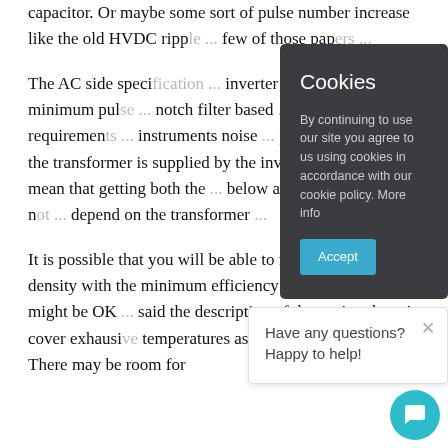capacitor. Or maybe some sort of pulse number increase like the old HVDC ripple... a few of those papers...
The AC side spec... inverter feedforward... and minimum pulse... notch filter based... noise requirements... instruments noise... current of the transformer is supplied by the inverter so this will mean that getting both the... below a certain limit may not... depend on the transformer...
[Figure (screenshot): Cookie consent modal overlay with dark gray background. Title: 'Cookies'. Body text: 'By continuing to use our site you agree to us using cookies in accordance with our cookie policy. More info'. Blue 'Accept' button.]
[Figure (screenshot): Chat help popup in bottom right with X close button. Text: 'Have any questions? Happy to help!']
It is possible that you will be able to meet the power density with the minimum efficiency as the cooling might be OK... said the description of the testing doesn't cover exhaust temperatures as would a UL standard. There may be room for